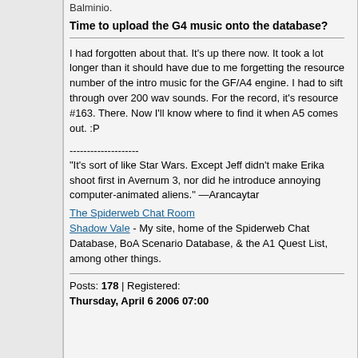Balminio.
Time to upload the G4 music onto the database?
I had forgotten about that. It's up there now. It took a lot longer than it should have due to me forgetting the resource number of the intro music for the GF/A4 engine. I had to sift through over 200 wav sounds. For the record, it's resource #163. There. Now I'll know where to find it when A5 comes out. :P
--------------------
"It's sort of like Star Wars. Except Jeff didn't make Erika shoot first in Avernum 3, nor did he introduce annoying computer-animated aliens." —Arancaytar
The Spiderweb Chat Room Shadow Vale - My site, home of the Spiderweb Chat Database, BoA Scenario Database, & the A1 Quest List, among other things.
Posts: 178 | Registered: Thursday, April 6 2006 07:00